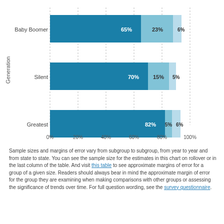[Figure (stacked-bar-chart): Generation (horizontal grouped stacked bar chart)]
Sample sizes and margins of error vary from subgroup to subgroup, from year to year and from state to state. You can see the sample size for the estimates in this chart on rollover or in the last column of the table. And visit this table to see approximate margins of error for a group of a given size. Readers should always bear in mind the approximate margin of error for the group they are examining when making comparisons with other groups or assessing the significance of trends over time. For full question wording, see the survey questionnaire.